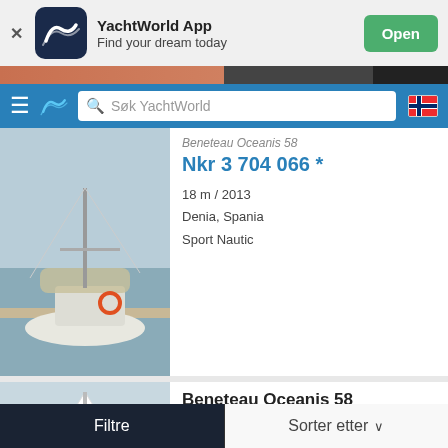[Figure (screenshot): YachtWorld App banner with app icon, name 'YachtWorld App', tagline 'Find your dream today', and green 'Open' button]
[Figure (screenshot): Navigation bar with hamburger menu, YachtWorld logo, search box 'Søk YachtWorld', and Norwegian flag icon]
[Figure (photo): Partial view of a sailboat at marina - first listing card thumbnail]
Nkr 3 704 066 *
18 m / 2013
Denia, Spania
Sport Nautic
[Figure (photo): Sailboat at sea - second listing card thumbnail for Beneteau Oceanis 58]
Beneteau Oceanis 58
Nkr 3 029 711 *
18 m / 2010
Nord de la France, Frankrike
YACHTSIDE Monaco
Filtre
Sorter etter ∨